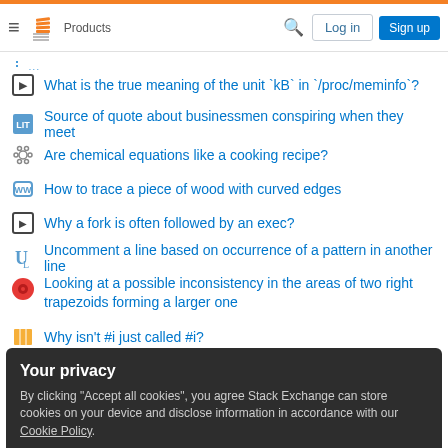≡  [Stack Overflow logo]  Products  🔍  Log in  Sign up
What is the true meaning of the unit `kB` in `/proc/meminfo`?
Source of quote about businessmen conspiring when they meet
Are chemical equations like a cooking recipe?
How to trace a piece of wood with curved edges
Why a fork is often followed by an exec?
Uncomment a line based on occurrence of a pattern in another line
Looking at a possible inconsistency in the areas of two right trapezoids forming a larger one
Why isn't #i just called #i?
Your privacy
By clicking "Accept all cookies", you agree Stack Exchange can store cookies on your device and disclose information in accordance with our Cookie Policy.
Accept all cookies   Customize settings
In MS-DOS, how much stack do I need to make an int21 call?